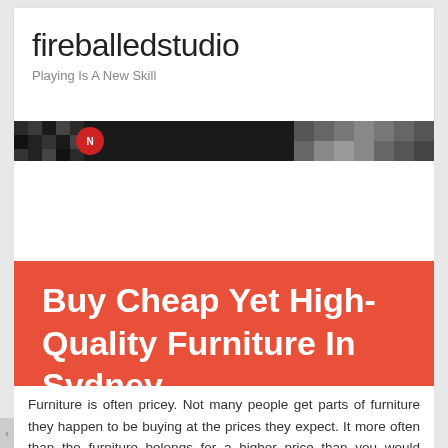fireballedstudio
Playing Is A New Skill
[Figure (photo): Dark banner strip with checkered/mosaic pattern in black, dark grey, and grey tones, with a red circular logo element visible]
Buy Cheap Yet High-Quality Furniture In Sydney
Furniture is often pricey. Not many people get parts of furniture they happen to be buying at the prices they expect. It more often than the furniture belongs for a higher price than you would expect.